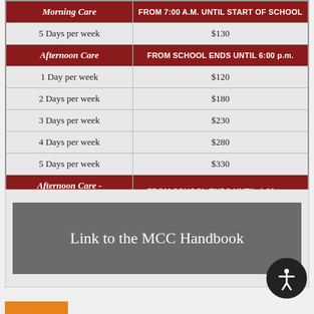|  |  |
| --- | --- |
| Morning Care | FROM 7:00 A.M. UNTIL START OF SCHOOL |
| 5 Days per week | $130 |
| Afternoon Care | FROM SCHOOL ENDS UNTIL 6:00 p.m. |
| 1 Day per week | $120 |
| 2 Days per week | $180 |
| 3 Days per week | $230 |
| 4 Days per week | $280 |
| 5 Days per week | $330 |
| Afternoon Care - Early Pick-up | FROM SCHOOL ENDS UNTIL 4:30 p.m. |
| 5 Days per week | $200 |
Link to the MCC Handbook